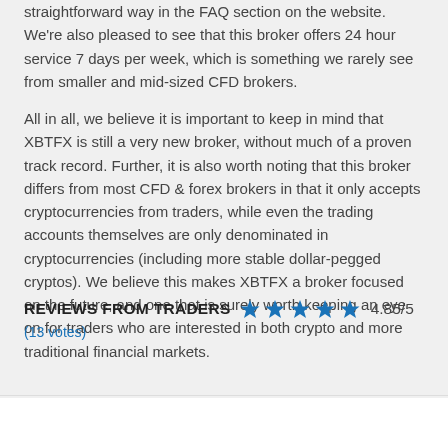straightforward way in the FAQ section on the website. We're also pleased to see that this broker offers 24 hour service 7 days per week, which is something we rarely see from smaller and mid-sized CFD brokers.
All in all, we believe it is important to keep in mind that XBTFX is still a very new broker, without much of a proven track record. Further, it is also worth noting that this broker differs from most CFD & forex brokers in that it only accepts cryptocurrencies from traders, while even the trading accounts themselves are only denominated in cryptocurrencies (including more stable dollar-pegged cryptos). We believe this makes XBTFX a broker focused on the future, and one that is surely worth keeping an eye on for traders who are interested in both crypto and more traditional financial markets.
REVIEWS FROM TRADERS  4.85/5
(13 votes)
5/5  Nikola  Poland